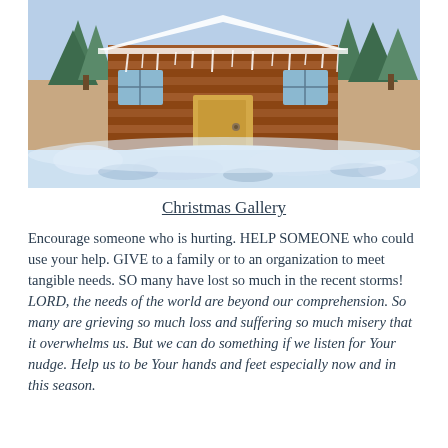[Figure (illustration): Watercolor painting of a rustic wooden cabin in a winter snow scene, with warm brown and orange tones for the cabin walls, snow-covered roof, icicles, evergreen trees in the background, and blue-grey snowy ground in the foreground.]
Christmas Gallery
Encourage someone who is hurting. HELP SOMEONE who could use your help. GIVE to a family or to an organization to meet tangible needs. SO many have lost so much in the recent storms! LORD, the needs of the world are beyond our comprehension. So many are grieving so much loss and suffering so much misery that it overwhelms us. But we can do something if we listen for Your nudge. Help us to be Your hands and feet especially now and in this season.